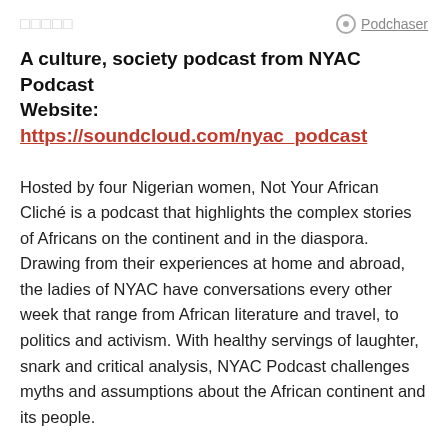□□□□□    Podchaser
A culture, society podcast from NYAC Podcast
Website: https://soundcloud.com/nyac_podcast
Hosted by four Nigerian women, Not Your African Cliché is a podcast that highlights the complex stories of Africans on the continent and in the diaspora. Drawing from their experiences at home and abroad, the ladies of NYAC have conversations every other week that range from African literature and travel, to politics and activism. With healthy servings of laughter, snark and critical analysis, NYAC Podcast challenges myths and assumptions about the African continent and its people.
[Figure (logo): SoundCloud orange logo with waveform and cloud icon]
Hosted by Soundcloud ℹ